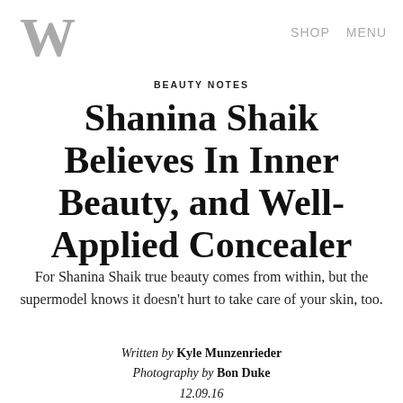W | SHOP  MENU
BEAUTY NOTES
Shanina Shaik Believes In Inner Beauty, and Well-Applied Concealer
For Shanina Shaik true beauty comes from within, but the supermodel knows it doesn't hurt to take care of your skin, too.
Written by Kyle Munzenrieder
Photography by Bon Duke
12.09.16